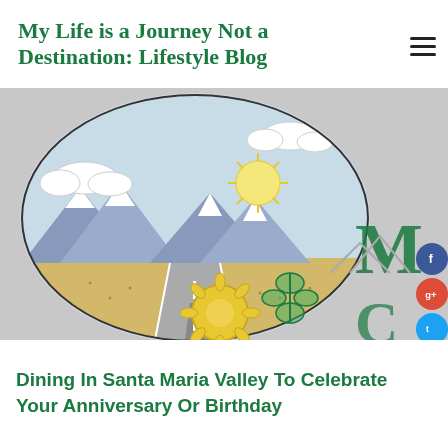My Life is a Journey Not a Destination: Lifestyle Blog
[Figure (illustration): A circular hand-drawn illustration showing a road stretching into the distance toward snow-capped mountains under a blue sky with clouds and a sun. Next to the circle is a partially visible blog logo with the letter M and decorative elements including a sunflower and butterfly. Social media icons (Facebook, Google+, Twitter, Pinterest, YouTube, Instagram) appear on the right edge.]
Dining In Santa Maria Valley To Celebrate Your Anniversary Or Birthday